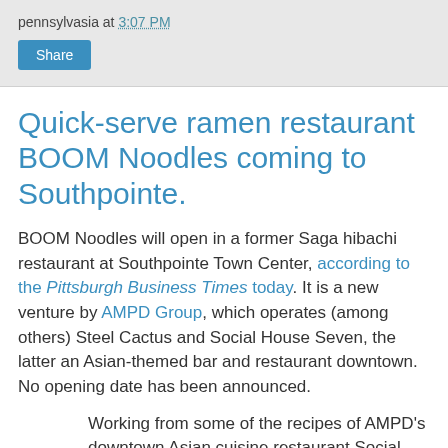pennsylvasia at 3:07 PM
Quick-serve ramen restaurant BOOM Noodles coming to Southpointe.
BOOM Noodles will open in a former Saga hibachi restaurant at Southpointe Town Center, according to the Pittsburgh Business Times today. It is a new venture by AMPD Group, which operates (among others) Steel Cactus and Social House Seven, the latter an Asian-themed bar and restaurant downtown. No opening date has been announced.
Working from some of the recipes of AMPD's downtown Asian cuisine restaurant Social House 7, AMPD will open BOOM Noodles, which DeSimone describes as a quick-serve Ramen restaurant. BOOM Noodles will be watched by AMPD for potential to expand elsewhere